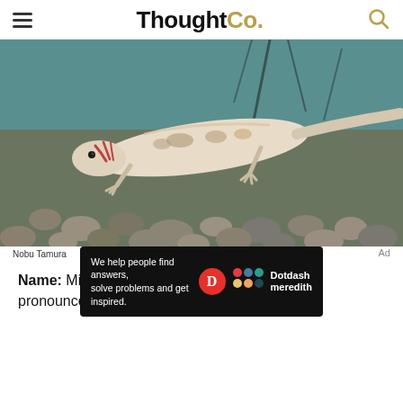ThoughtCo.
[Figure (photo): A pale/cream colored salamander or small aquatic creature (Microbrachis) photographed underwater against a background of pebbles and aquatic plants. Photo credit: Nobu Tamura.]
Nobu Tamura
Name: Microbrachis (Greek for "little branch"); pronounced MY-crow-BRACK-iss
[Figure (other): Advertisement bar: 'We help people find answers, solve problems and get inspired.' with Dotdash Meredith logo]